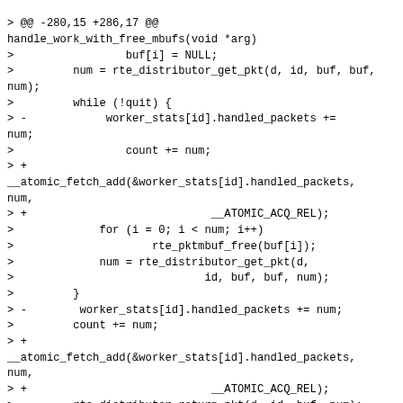[Figure (other): A unified diff / patch view showing changes to C source code, including modifications to worker_stats handled_packets using __atomic_fetch_add and rte_distributor functions.]